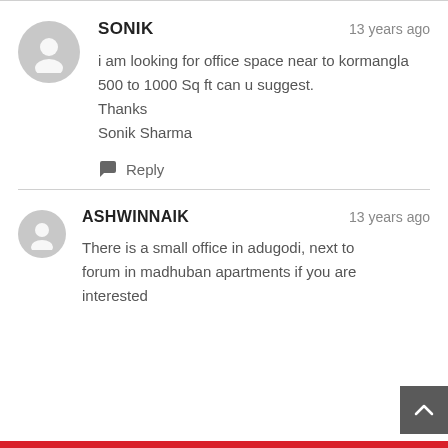SONIK — 13 years ago
i am looking for office space near to kormangla 500 to 1000 Sq ft can u suggest.
Thanks
Sonik Sharma
Reply
ASHWINNAIK — 13 years ago
There is a small office in adugodi, next to forum in madhuban apartments if you are interested